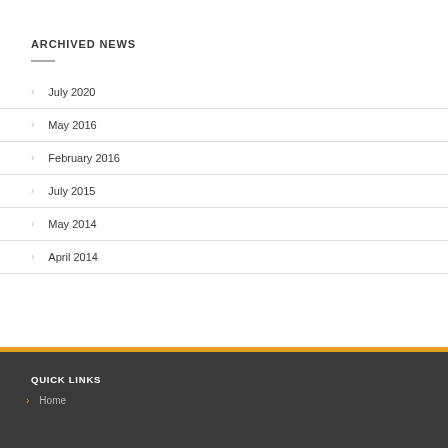ARCHIVED NEWS
July 2020
May 2016
February 2016
July 2015
May 2014
April 2014
QUICK LINKS
> Home